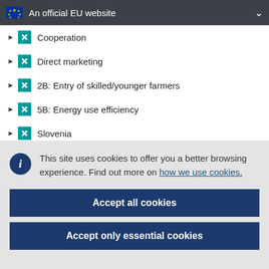An official EU website
Cooperation
Direct marketing
2B: Entry of skilled/younger farmers
5B: Energy use efficiency
Slovenia
M06: Farm & business development
This site uses cookies to offer you a better browsing experience. Find out more on how we use cookies.
Accept all cookies
Accept only essential cookies